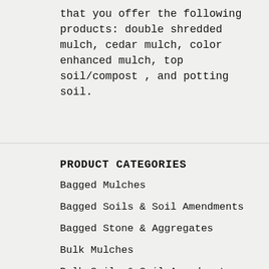that you offer the following products: double shredded mulch, cedar mulch, color enhanced mulch, top soil/compost , and potting soil.
PRODUCT CATEGORIES
Bagged Mulches
Bagged Soils & Soil Amendments
Bagged Stone & Aggregates
Bulk Mulches
Bulk Soils & Soil Amendments